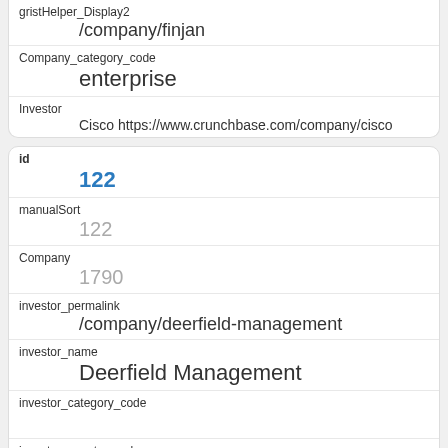| gristHelper_Display2 | /company/finjan |
| Company_category_code | enterprise |
| Investor | Cisco https://www.crunchbase.com/company/cisco |
| id | 122 |
| manualSort | 122 |
| Company | 1790 |
| investor_permalink | /company/deerfield-management |
| investor_name | Deerfield Management |
| investor_category_code |  |
| investor_country_code |  |